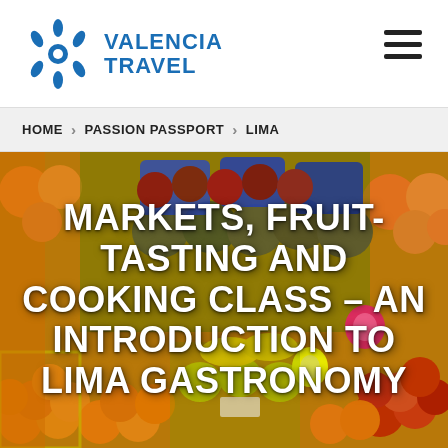VALENCIA TRAVEL
HOME  PASSION PASSPORT  LIMA
[Figure (photo): Colorful fruit market stall with oranges, apples, kiwis, dragon fruits, and other tropical fruits arranged in rows with blue packaging]
MARKETS, FRUIT-TASTING AND COOKING CLASS – AN INTRODUCTION TO LIMA GASTRONOMY